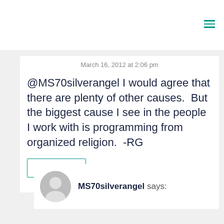March 16, 2012 at 2:06 pm
@MS70silverangel I would agree that there are plenty of other causes.  But the biggest cause I see in the people I work with is programming from organized religion.  -RG
Reply
MS70silverangel says: